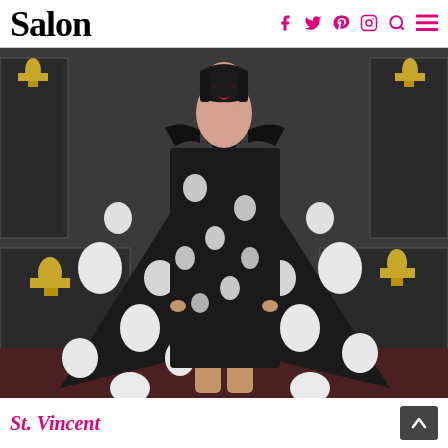Salon
[Figure (photo): St. Vincent wearing a dramatic black and white floral cape/dress with a large black bow at the neck, standing on what appears to be the Grammy Awards red carpet. Grammy trophy statues are visible in the background display cases.]
St. Vincent